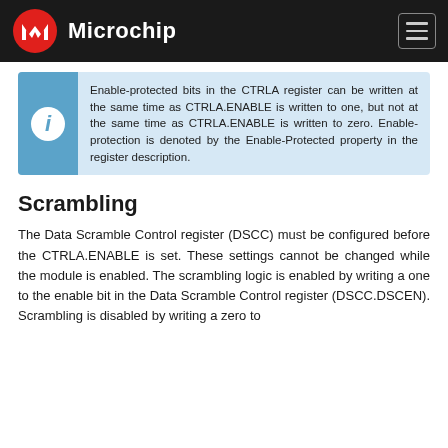Microchip
Enable-protected bits in the CTRLA register can be written at the same time as CTRLA.ENABLE is written to one, but not at the same time as CTRLA.ENABLE is written to zero. Enable-protection is denoted by the Enable-Protected property in the register description.
Scrambling
The Data Scramble Control register (DSCC) must be configured before the CTRLA.ENABLE is set. These settings cannot be changed while the module is enabled. The scrambling logic is enabled by writing a one to the enable bit in the Data Scramble Control register (DSCC.DSCEN). Scrambling is disabled by writing a zero to